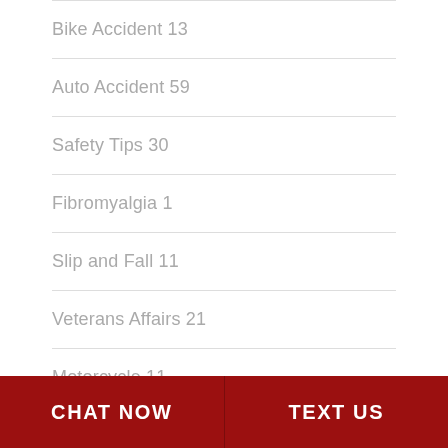Bike Accident 13
Auto Accident 59
Safety Tips 30
Fibromyalgia 1
Slip and Fall 11
Veterans Affairs 21
Motorcycle 11
Providence 33
CHAT NOW   TEXT US